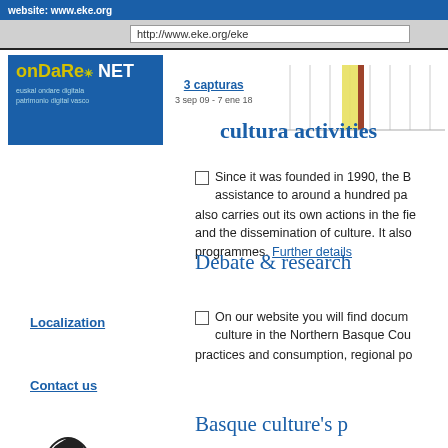[Figure (screenshot): Browser screenshot with Wayback Machine Ondare NET overlay showing URL http://www.eke.org/eke with 3 capturas, dated 3 sep 09 - 7 ene 18, and a timeline bar]
Since it was founded in 1990, the B assistance to around a hundred pa also carries out its own actions in the fie and the dissemination of culture. It also programmes. Further details
Debate & research
On our website you will find docum culture in the Northern Basque Co practices and consumption, regional po
Localization
Contact us
[Figure (logo): Pays-basque .eu logo with decorative Basque cross/knot symbol]
Basque culture's p